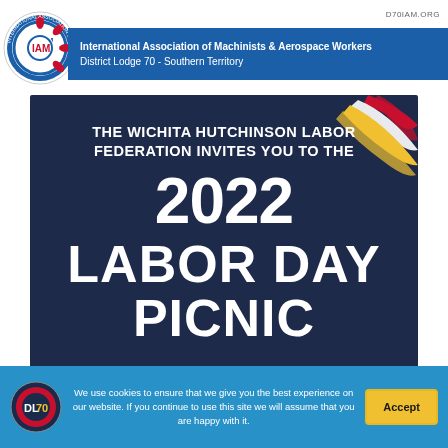D70IAM.ORG
International Association of Machinists & Aerospace Workers
District Lodge 70 - Southern Territory
[Figure (infographic): Dark navy blue promotional poster for the 2022 Labor Day Picnic hosted by The Wichita Hutchinson Labor Federation, with decorative ribbon graphics in red, yellow, and white in the upper right corner. Large white bold text reads: THE WICHITA HUTCHINSON LABOR FEDERATION INVITES YOU TO THE / 2022 / LABOR DAY / PICNIC]
We use cookies to ensure that we give you the best experience on our website. If you continue to use this site we will assume that you are happy with it.